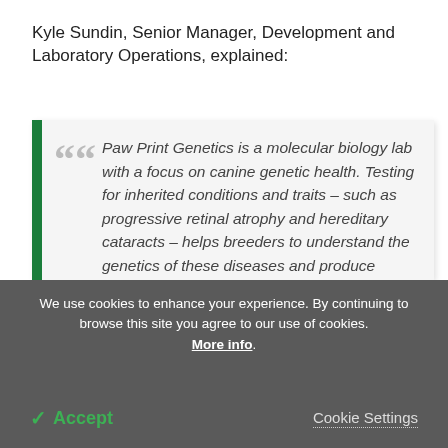Kyle Sundin, Senior Manager, Development and Laboratory Operations, explained:
Paw Print Genetics is a molecular biology lab with a focus on canine genetic health. Testing for inherited conditions and traits – such as progressive retinal atrophy and hereditary cataracts – helps breeders to understand the genetics of these diseases and produce healthy animals, which is better for both the
We use cookies to enhance your experience. By continuing to browse this site you agree to our use of cookies. More info.
✓ Accept
Cookie Settings